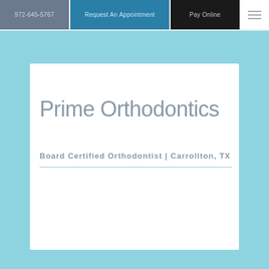972-645-5767 | Request An Appointment | Pay Online
Prime Orthodontics
Board Certified Orthodontist | Carrollton, TX
Text Us →
[Figure (photo): Partial view of a dental/orthodontics related image at the bottom of the page]